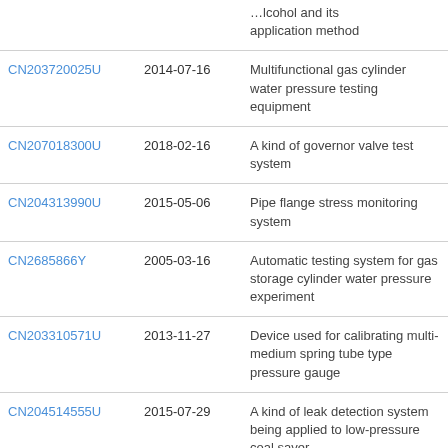| Patent | Date | Title |
| --- | --- | --- |
|  |  | …lcohol and its application method |
| CN203720025U | 2014-07-16 | Multifunctional gas cylinder water pressure testing equipment |
| CN207018300U | 2018-02-16 | A kind of governor valve test system |
| CN204313990U | 2015-05-06 | Pipe flange stress monitoring system |
| CN2685866Y | 2005-03-16 | Automatic testing system for gas storage cylinder water pressure experiment |
| CN203310571U | 2013-11-27 | Device used for calibrating multi-medium spring tube type pressure gauge |
| CN204514555U | 2015-07-29 | A kind of leak detection system being applied to low-pressure coal saver |
| CN205670004U | 2016-11-02 | A kind of water-pipe type settlement instrument |